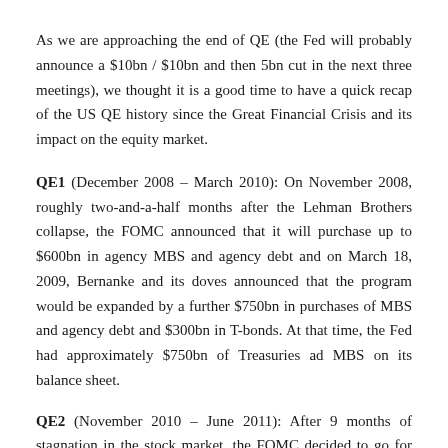As we are approaching the end of QE (the Fed will probably announce a $10bn / $10bn and then 5bn cut in the next three meetings), we thought it is a good time to have a quick recap of the US QE history since the Great Financial Crisis and its impact on the equity market.
QE1 (December 2008 – March 2010): On November 2008, roughly two-and-a-half months after the Lehman Brothers collapse, the FOMC announced that it will purchase up to $600bn in agency MBS and agency debt and on March 18, 2009, Bernanke and its doves announced that the program would be expanded by a further $750bn in purchases of MBS and agency debt and $300bn in T-bonds. At that time, the Fed had approximately $750bn of Treasuries ad MBS on its balance sheet.
QE2 (November 2010 – June 2011): After 9 months of stagnation in the stock market, the FOMC decided to go for another round of